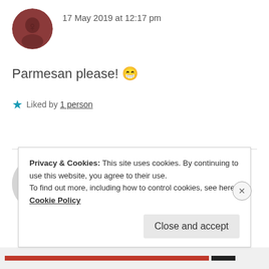17 May 2019 at 12:17 pm
Parmesan please! 😁
★ Liked by 1 person
BARNEY
17 May 2019 at 12:18 pm
Privacy & Cookies: This site uses cookies. By continuing to use this website, you agree to their use.
To find out more, including how to control cookies, see here: Cookie Policy
Close and accept